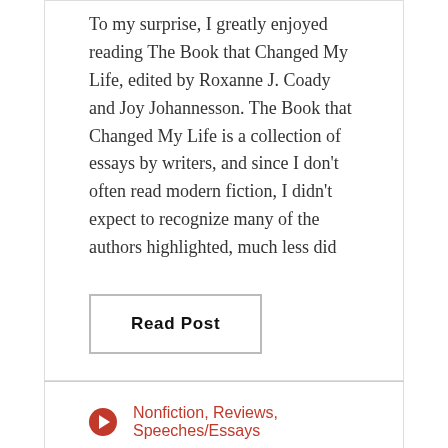To my surprise, I greatly enjoyed reading The Book that Changed My Life, edited by Roxanne J. Coady and Joy Johannesson. The Book that Changed My Life is a collection of essays by writers, and since I don't often read modern fiction, I didn't expect to recognize many of the authors highlighted, much less did
Read Post
Nonfiction, Reviews, Speeches/Essays
A Modest Proposal by Jonathan Swift
Last week I reread Jonathan Swift's A Modest Proposal: For Preventing the Children of Poor